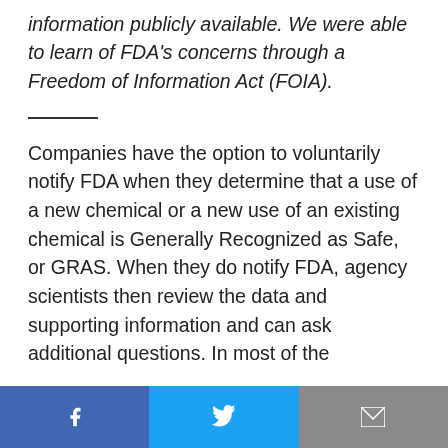information publicly available. We were able to learn of FDA's concerns through a Freedom of Information Act (FOIA).
Companies have the option to voluntarily notify FDA when they determine that a use of a new chemical or a new use of an existing chemical is Generally Recognized as Safe, or GRAS. When they do notify FDA, agency scientists then review the data and supporting information and can ask additional questions. In most of the
Facebook | Twitter | Email